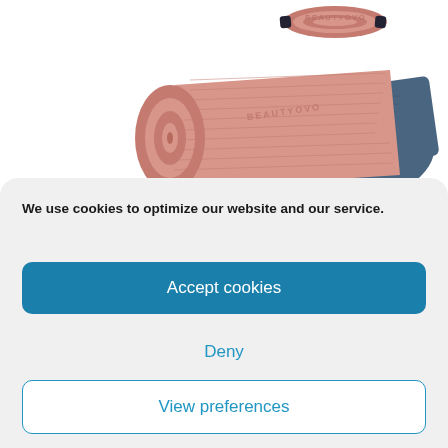[Figure (photo): Two BEAUTYOVO branded yoga mats — one pink and one navy/dark teal — partially rolled up, displayed overlapping each other on a white background. A small fully rolled mat with a strap is visible at the top.]
We use cookies to optimize our website and our service.
Accept cookies
Deny
View preferences
Privacy Policy